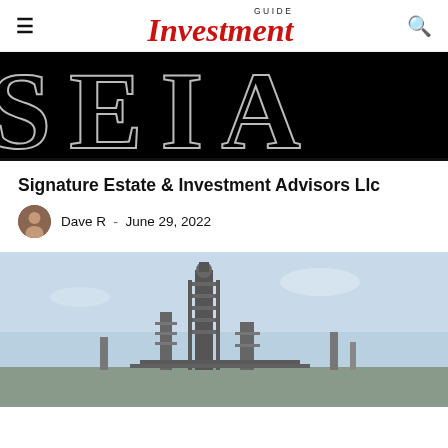GUIDE Investment
[Figure (photo): Dark banner image with large decorative serif letters on black background, partially visible text]
Signature Estate & Investment Advisors Llc
Dave R  -  June 29, 2022
[Figure (photo): Industrial facility photo showing a tall tower structure with scaffolding and equipment against a light blue sky]